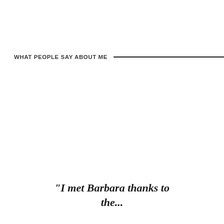WHAT PEOPLE SAY ABOUT ME
"I met Barbara thanks to the...